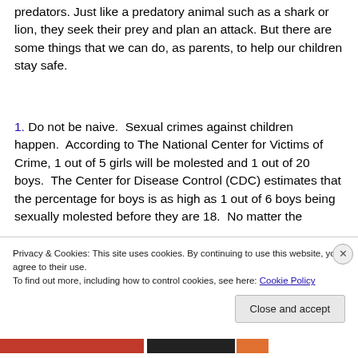These people are called child molesters or sexual predators. Just like a predatory animal such as a shark or lion, they seek their prey and plan an attack. But there are some things that we can do, as parents, to help our children stay safe.
1. Do not be naive. Sexual crimes against children happen. According to The National Center for Victims of Crime, 1 out of 5 girls will be molested and 1 out of 20 boys. The Center for Disease Control (CDC) estimates that the percentage for boys is as high as 1 out of 6 boys being sexually molested before they are 18. No matter the
Privacy & Cookies: This site uses cookies. By continuing to use this website, you agree to their use.
To find out more, including how to control cookies, see here: Cookie Policy